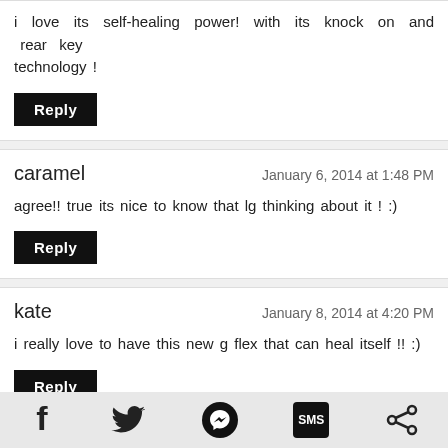i love its self-healing power! with its knock on and rear key technology !
Reply
caramel — January 6, 2014 at 1:48 PM
agree!! true its nice to know that lg thinking about it ! :)
Reply
kate — January 8, 2014 at 4:20 PM
i really love to have this new g flex that can heal itself !! :)
Reply
alex — January 8, 2014 at 4:24 PM
knock on feature is one of the best technology that LG has